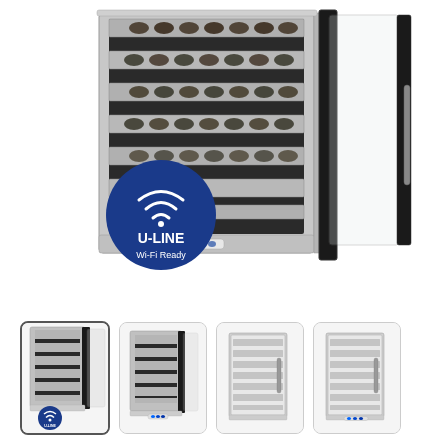[Figure (photo): U-Line wine refrigerator with stainless steel shelving and glass door open, showing multiple wine bottles stored. A blue circular badge reads 'U-LINE Wi-Fi Ready' with a Wi-Fi icon.]
[Figure (photo): Four thumbnail images of the U-Line wine refrigerator from different angles: open door front view, open door side view, closed front view, and closed front view with blue indicator light.]